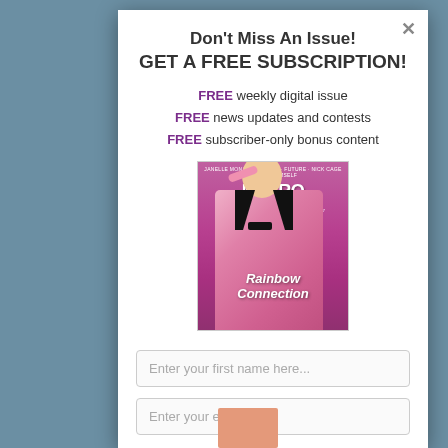Don't Miss An Issue!
GET A FREE SUBSCRIPTION!
FREE weekly digital issue
FREE news updates and contests
FREE subscriber-only bonus content
[Figure (photo): Metro Weekly magazine cover featuring a man in a pink sequined tuxedo holding pink glasses, with text 'Rainbow Connection']
Enter your first name here...